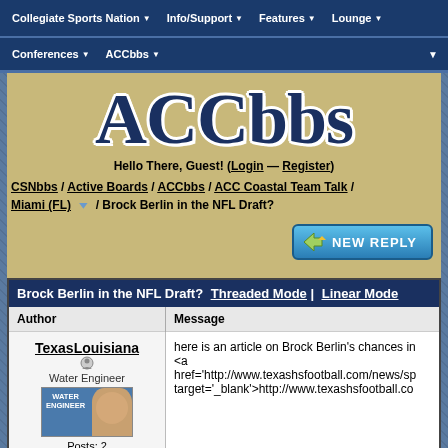Collegiate Sports Nation | Info/Support | Features | Lounge
Conferences | ACCbbs
ACCbbs
Hello There, Guest! (Login — Register)
CSNbbs / Active Boards / ACCbbs / ACC Coastal Team Talk / Miami (FL) / Brock Berlin in the NFL Draft?
[Figure (screenshot): New Reply button with arrow icon]
| Author | Message |
| --- | --- |
| TexasLouisiana
Water Engineer
Posts: 2
Joined: Mar 2005
Reputation: 0
I Root For: | here is an article on Brock Berlin's chances in <a href='http://www.texashsfootball.com/news/sp target='_blank'>http://www.texashsfootball.co |
Brock Berlin in the NFL Draft? Threaded Mode | Linear Mode